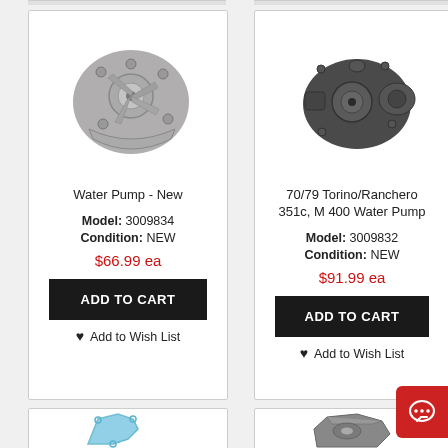[Figure (photo): Water pump - new automotive part, gray metal, angled top-down view]
Water Pump - New
Model: 3009834
Condition: NEW
$66.99 ea
ADD TO CART
Add to Wish List
[Figure (photo): 70/79 Torino/Ranchero 351c M400 water pump, dark gray/black metal automotive part]
70/79 Torino/Ranchero 351c, M 400 Water Pump
Model: 3009832
Condition: NEW
$91.99 ea
ADD TO CART
Add to Wish List
[Figure (photo): Light blue gasket auto part, partial view at bottom of page]
[Figure (photo): Gray metal automotive part, partial view at bottom right of page]